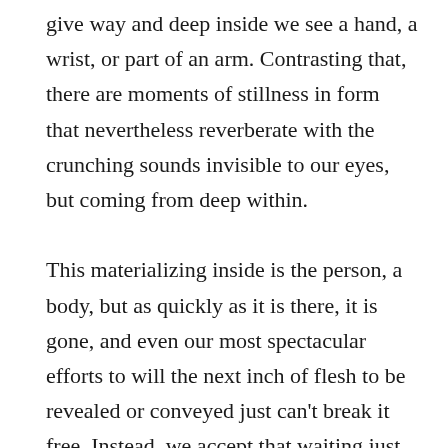give way and deep inside we see a hand, a wrist, or part of an arm. Contrasting that, there are moments of stillness in form that nevertheless reverberate with the crunching sounds invisible to our eyes, but coming from deep within.

This materializing inside is the person, a body, but as quickly as it is there, it is gone, and even our most spectacular efforts to will the next inch of flesh to be revealed or conveyed just can't break it free. Instead, we accept that waiting just below the surface of this form (and any form) is a vast potential that we simply can't directly access. As observers on the periphery we can't reach from the outside in, and this is okay. Using our senses we can feel the entanglements and tensions within. We can intra-act, materialize our touchstones and still get lost in the social